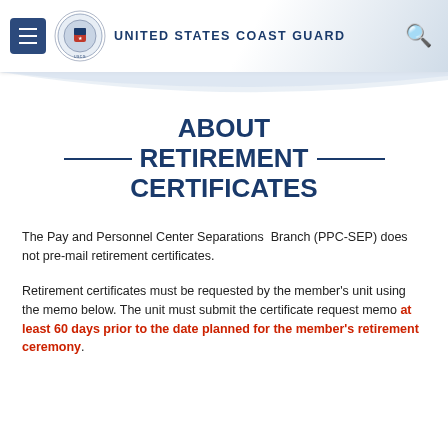United States Coast Guard
ABOUT RETIREMENT CERTIFICATES
The Pay and Personnel Center Separations Branch (PPC-SEP) does not pre-mail retirement certificates.
Retirement certificates must be requested by the member's unit using the memo below. The unit must submit the certificate request memo at least 60 days prior to the date planned for the member's retirement ceremony.
PPC (SEP) issues three types of certificates: Retirement, Spousal Appreciation and Presidential. We do NOT issue certificates to significant others, children or pets. Children's certificates are processed at the unit level.